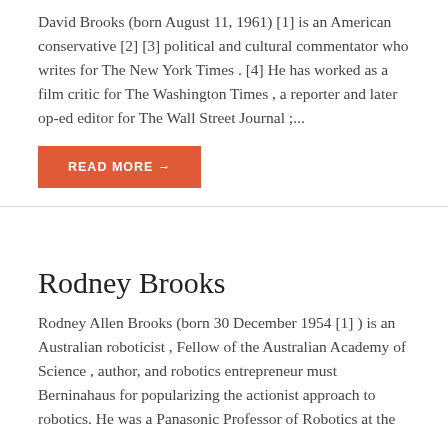David Brooks (born August 11, 1961) [1] is an American conservative [2] [3] political and cultural commentator who writes for The New York Times . [4] He has worked as a film critic for The Washington Times , a reporter and later op-ed editor for The Wall Street Journal ;...
READ MORE →
Rodney Brooks
Rodney Allen Brooks (born 30 December 1954 [1] ) is an Australian roboticist , Fellow of the Australian Academy of Science , author, and robotics entrepreneur must Berninahaus for popularizing the actionist approach to robotics. He was a Panasonic Professor of Robotics at the